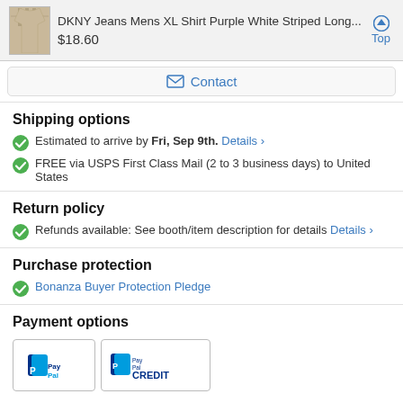DKNY Jeans Mens XL Shirt Purple White Striped Long... $18.60 Top
Contact
Shipping options
Estimated to arrive by Fri, Sep 9th. Details >
FREE via USPS First Class Mail (2 to 3 business days) to United States
Return policy
Refunds available: See booth/item description for details Details >
Purchase protection
Bonanza Buyer Protection Pledge
Payment options
[Figure (logo): PayPal and PayPal Credit payment option logos]